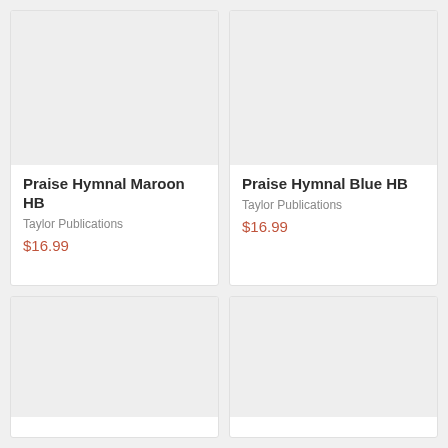[Figure (photo): Product image placeholder for Praise Hymnal Maroon HB (gray rectangle)]
Praise Hymnal Maroon HB
Taylor Publications
$16.99
[Figure (photo): Product image placeholder for Praise Hymnal Blue HB (gray rectangle)]
Praise Hymnal Blue HB
Taylor Publications
$16.99
[Figure (photo): Product image placeholder (gray rectangle) bottom-left card]
[Figure (photo): Product image placeholder (gray rectangle) bottom-right card]